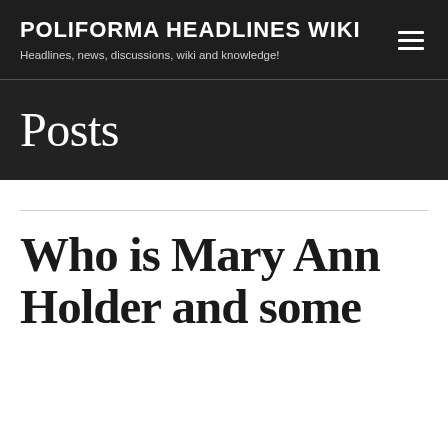POLIFORMA HEADLINES WIKI
Headlines, news, discussions, wiki and knowledge!
Posts
Who is Mary Ann Holder and some